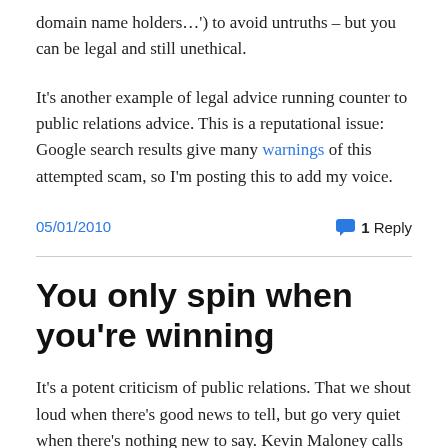domain name holders…') to avoid untruths – but you can be legal and still unethical.
It's another example of legal advice running counter to public relations advice. This is a reputational issue: Google search results give many warnings of this attempted scam, so I'm posting this to add my voice.
05/01/2010
1 Reply
You only spin when you're winning
It's a potent criticism of public relations. That we shout loud when there's good news to tell, but go very quiet when there's nothing new to say. Kevin Maloney calls it